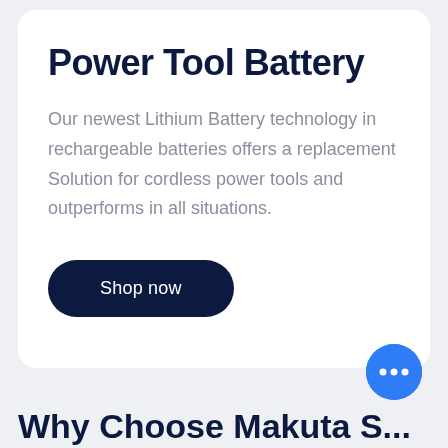Power Tool Battery
Our newest Lithium Battery technology in rechargeable batteries offers a replacement Solution for cordless power tools and outperforms in all situations.
Shop now
[Figure (illustration): Blue circular chat bubble icon with three dots indicating messaging/chat support]
Why Choose Makuta S...